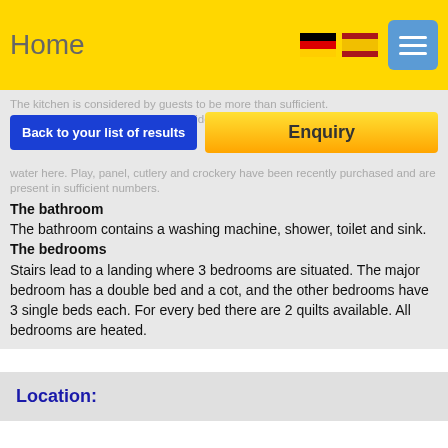Home
The kitchen is considered by guests to be more than sufficient. [Back to your list of results] [Enquiry] ...tes, a fridge, micro... water here. Play, panel, cutlery and crockery have been recently purchased and are present in sufficient numbers.
The bathroom
The bathroom contains a washing machine, shower, toilet and sink.
The bedrooms
Stairs lead to a landing where 3 bedrooms are situated. The major bedroom has a double bed and a cot, and the other bedrooms have 3 single beds each. For every bed there are 2 quilts available. All bedrooms are heated.
Location: